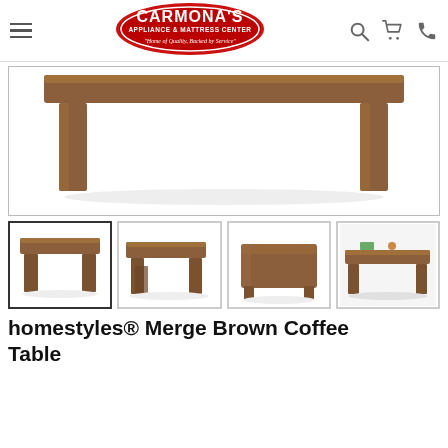[Figure (logo): Carmona's Appliance & Mattress Center logo — red oval with white text, tagline 'Home of Quality, Backed by Service']
[Figure (photo): Close-up cropped view of a brown wood coffee table from the side/front, showing the tabletop and two legs visible, white background]
[Figure (photo): Thumbnail 1 (selected): Brown coffee table side view, full table visible on white background]
[Figure (photo): Thumbnail 2: Brown coffee table angled side view on white background]
[Figure (photo): Thumbnail 3: Brown coffee table top-down angled view on white background]
[Figure (photo): Thumbnail 4: Brown coffee table styled scene with decorative items on top]
homestyles® Merge Brown Coffee Table